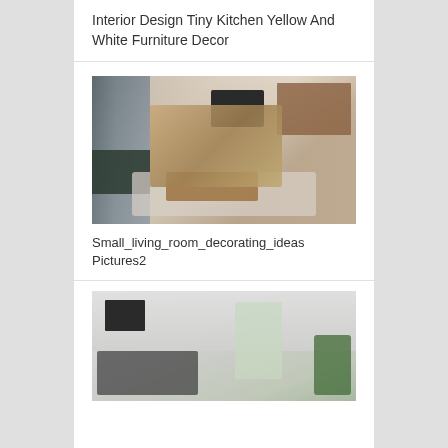Interior Design Tiny Kitchen Yellow And White Furniture Decor
[Figure (photo): A modern living room with wooden furniture, a TV unit, shelving, a dark sofa on the left, a coffee table with a bowl of green apples, fluffy white rug, and a large window.]
Small_living_room_decorating_ideas Pictures2
[Figure (photo): A bright, modern living room with white walls, large windows, a dark patterned sofa, wall art, and a plant in the corner.]